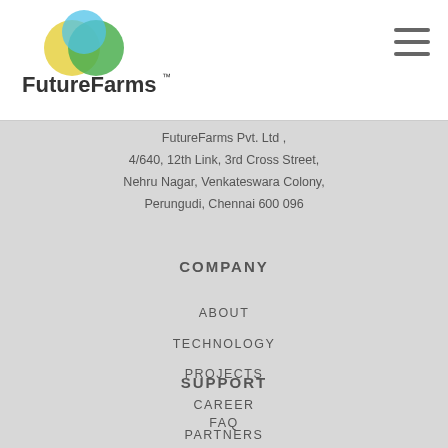[Figure (logo): FutureFarms logo with overlapping yellow and green circles above the text 'FutureFarms' with a trademark symbol]
FutureFarms Pvt. Ltd ,
4/640, 12th Link, 3rd Cross Street,
Nehru Nagar, Venkateswara Colony,
Perungudi, Chennai 600 096
COMPANY
ABOUT
TECHNOLOGY
PROJECTS
CAREER
PARTNERS
PRIVACY POLICY
SUPPORT
FAQ
BLOG